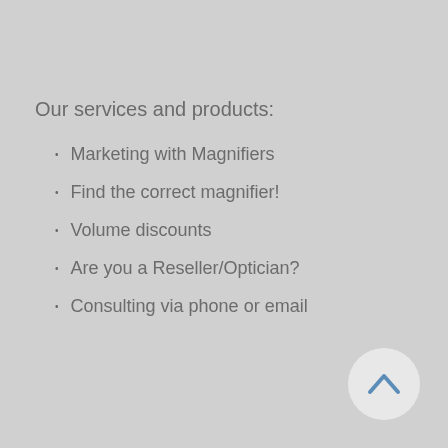Our services and products:
Marketing with Magnifiers
Find the correct magnifier!
Volume discounts
Are you a Reseller/Optician?
Consulting via phone or email
[Figure (other): A circular back-to-top button with a chevron/caret arrow pointing upward, in blue on a light grey circle background, positioned in the bottom-right corner.]